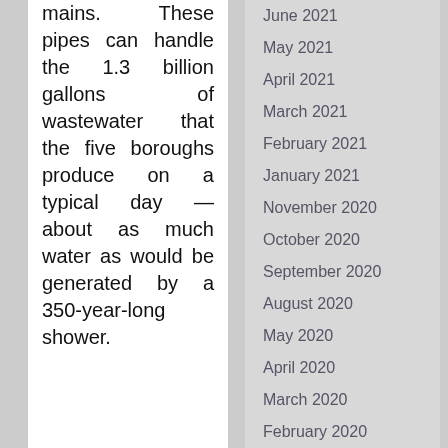mains. These pipes can handle the 1.3 billion gallons of wastewater that the five boroughs produce on a typical day — about as much water as would be generated by a 350-year-long shower.
June 2021
May 2021
April 2021
March 2021
February 2021
January 2021
November 2020
October 2020
September 2020
August 2020
May 2020
April 2020
March 2020
February 2020
January 2020
December 2019
November 2019
October 2019
September 2019
August 2019
July 2019